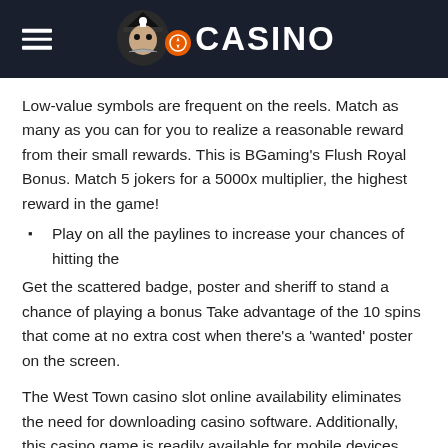CASINO
Low-value symbols are frequent on the reels. Match as many as you can for you to realize a reasonable reward from their small rewards. This is BGaming's Flush Royal Bonus. Match 5 jokers for a 5000x multiplier, the highest reward in the game!
Play on all the paylines to increase your chances of hitting the
Get the scattered badge, poster and sheriff to stand a chance of playing a bonus Take advantage of the 10 spins that come at no extra cost when there's a 'wanted' poster on the screen.
The West Town casino slot online availability eliminates the need for downloading casino software. Additionally, this casino game is readily available for mobile devices, especially for the iOS and